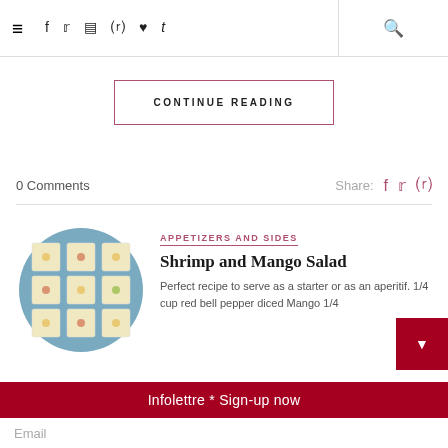≡  f  y  ⊡  ⊕  ♥  t  🔍
CONTINUE READING
0 Comments    Share:
APPETIZERS AND SIDES
Shrimp and Mango Salad
Perfect recipe to serve as a starter or as an aperitif. 1/4 cup red bell pepper diced Mango 1/4
Infolettre * Sign-up now